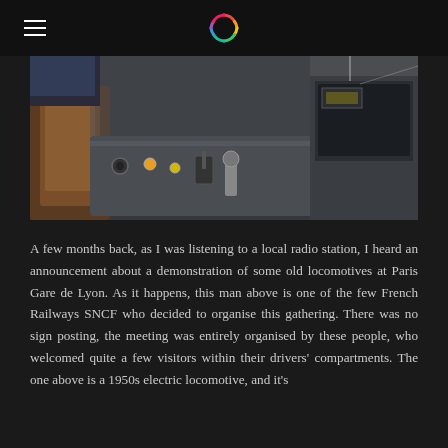[Navigation header with hamburger menu and logo]
[Figure (photo): Close-up photo of a train locomotive cockpit/driver's cabin interior, showing control panels, levers, switches, and a brown seat/armrest visible on the left side. The dashboard has various controls and instruments.]
A few months back, as I was listening to a local radio station, I heard an announcement about a demonstration of some old locomotives at Paris Gare de Lyon. As it happens, this man above is one of the few French Railways SNCF who decided to organise this gathering. There was no sign posting, the meeting was entirely organised by these people, who welcomed quite a few visitors within their drivers' compartments. The one above is a 1950s electric locomotive, and it's